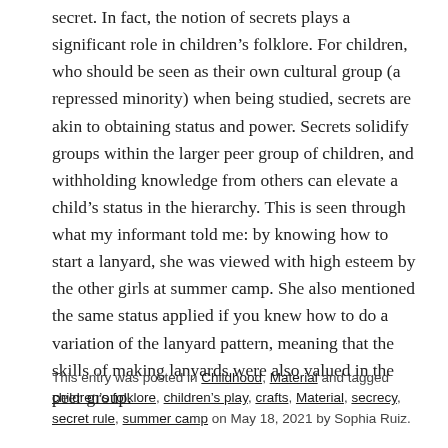secret. In fact, the notion of secrets plays a significant role in children's folklore. For children, who should be seen as their own cultural group (a repressed minority) when being studied, secrets are akin to obtaining status and power. Secrets solidify groups within the larger peer group of children, and withholding knowledge from others can elevate a child's status in the hierarchy. This is seen through what my informant told me: by knowing how to start a lanyard, she was viewed with high esteem by the other girls at summer camp. She also mentioned the same status applied if you knew how to do a variation of the lanyard pattern, meaning that the skills of making lanyards were also valued in the peer group.
This entry was posted in Childhood, Material and tagged children's folklore, children's play, crafts, Material, secrecy, secret rule, summer camp on May 18, 2021 by Sophia Ruiz.